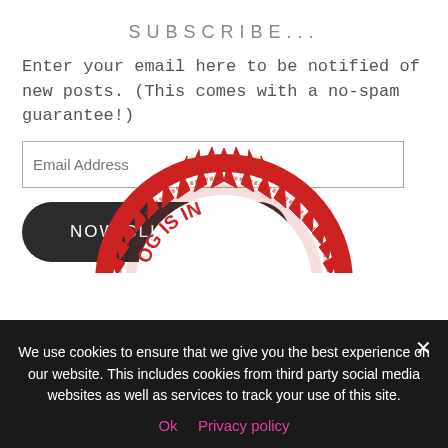SUBSCRIBE...
Enter your email here to be notified of new posts. (This comes with a no-spam guarantee!)
Email Address
NOW CLICK ME...
[Figure (illustration): Red circular stamp badge with serrated edge showing text 'THIS BLOG IS IN' in red capital letters, with a red semicircle at bottom. Only the upper half of the stamp is visible.]
We use cookies to ensure that we give you the best experience on our website. This includes cookies from third party social media websites as well as services to track your use of this site.
Ok   Privacy policy